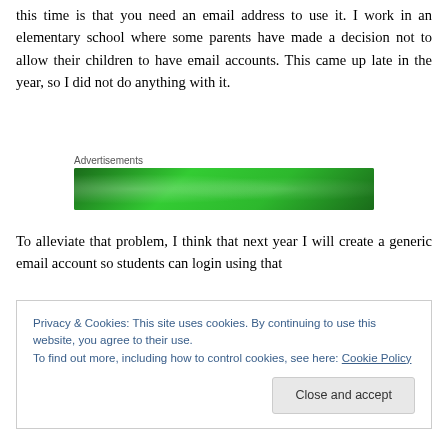this time is that you need an email address to use it. I work in an elementary school where some parents have made a decision not to allow their children to have email accounts. This came up late in the year, so I did not do anything with it.
[Figure (other): Green advertisement banner with circular logo elements on dark green background]
To alleviate that problem, I think that next year I will create a generic email account so students can login using that
Privacy & Cookies: This site uses cookies. By continuing to use this website, you agree to their use. To find out more, including how to control cookies, see here: Cookie Policy